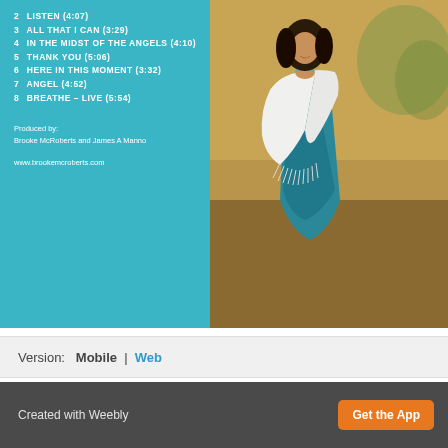[Figure (photo): Album back cover with teal panel listing tracks on the left and a photo of a woman in a teal/turquoise patterned dress holding a white shawl on the right.]
2  LISTEN (4:07)
3  ALL THAT I CAN (3:29)
4  IN THE MIDST OF THE ANGELS (4:10)
5  THANK YOU (5:06)
6  HERE IN THIS MOMENT (3:32)
7  ANGEL (4:52)
8  BREATHE – LIVE (5:54)
Produced by:
Brooke McRoberts and James A Manno
www.brookemcroberts.com
Version:  Mobile  |  Web
Created with Weebly